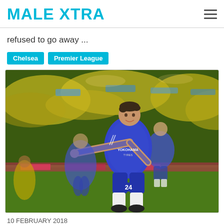MALE XTRA
refused to go away ...
Chelsea
Premier League
[Figure (photo): Chelsea footballer in blue Yokohama jersey, number 24, pointing and celebrating on a football pitch with crowd and other players behind him]
10 FEBRUARY 2018